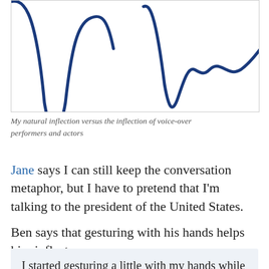[Figure (continuous-plot): A waveform/inflection chart showing two voice pitch curves — one representing natural inflection and one representing voice-over performer/actor inflection — drawn as blue continuous lines on a white background with a gray border.]
My natural inflection versus the inflection of voice-over performers and actors
Jane says I can still keep the conversation metaphor, but I have to pretend that I'm talking to the president of the United States.
Ben says that gesturing with his hands helps him inflect more:
I started gesturing a little with my hands while